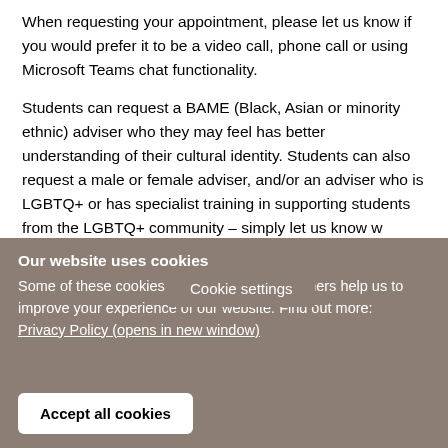When requesting your appointment, please let us know if you would prefer it to be a video call, phone call or using Microsoft Teams chat functionality.
Students can request a BAME (Black, Asian or minority ethnic) adviser who they may feel has better understanding of their cultural identity. Students can also request a male or female adviser, and/or an adviser who is LGBTQ+ or has specialist training in supporting students from the LGBTQ+ community – simply let us know w[hen contacting] the team.
Cookie settings
Our website uses cookies
Some of these cookies are essential, while others help us to improve your experience of our website. Find out more: Privacy Policy (opens in new window)
Accept all cookies